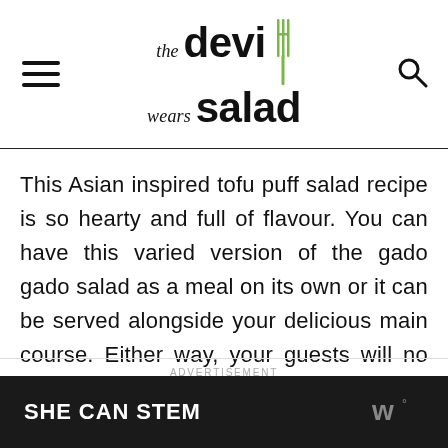the devi wears salad
This Asian inspired tofu puff salad recipe is so hearty and full of flavour. You can have this varied version of the gado gado salad as a meal on its own or it can be served alongside your delicious main course. Either way, your guests will no doubt enjoy this tofu salad!
ADVERTISEMENT
SHE CAN STEM